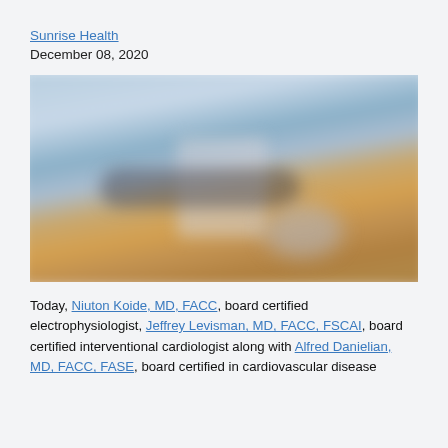Sunrise Health
December 08, 2020
[Figure (photo): Blurred close-up photo of a medical device or stethoscope on a wooden surface with a light blue background]
Today, Niuton Koide, MD, FACC, board certified electrophysiologist, Jeffrey Levisman, MD, FACC, FSCAI, board certified interventional cardiologist along with Alfred Danielian, MD, FACC, FASE, board certified in cardiovascular disease